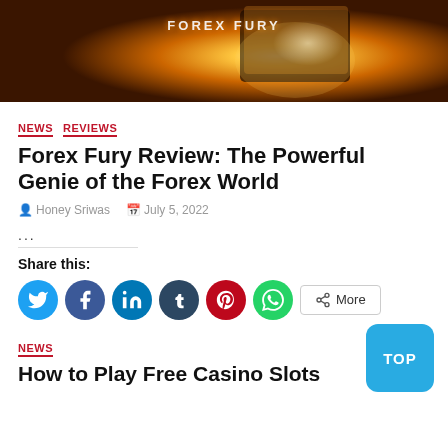[Figure (photo): Forex Fury product box artwork with fiery golden background]
NEWS  REVIEWS
Forex Fury Review: The Powerful Genie of the Forex World
Honey Sriwas  July 5, 2022
...
Share this:
NEWS
How to Play Free Casino Slots